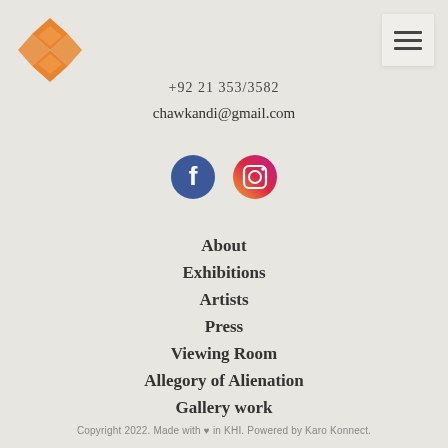[Figure (logo): Orange geometric diamond/cross logo mark for Chawkandi art gallery]
[Figure (other): Hamburger menu icon (three horizontal lines) on light background]
+92 21 353/3582
chawkandi@gmail.com
[Figure (other): Facebook and Instagram social media icons side by side]
About
Exhibitions
Artists
Press
Viewing Room
Allegory of Alienation
Gallery work
Copyright 2022. Made with ♥ in KHI. Powered by Karo Konnect.